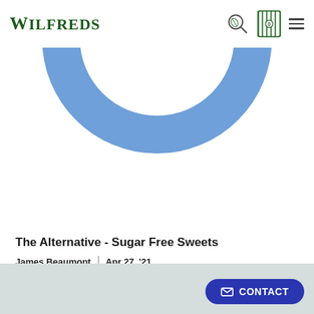WILFREDS
[Figure (illustration): Large blue donut/arc shape (U-shape) serving as decorative background element, in a medium steel blue color, partially cropped at top of page]
The Alternative - Sugar Free Sweets
James Beaumont  |  Apr 27, '21
[Figure (photo): Light grey-green background image panel at the bottom of the page, partially visible]
CONTACT